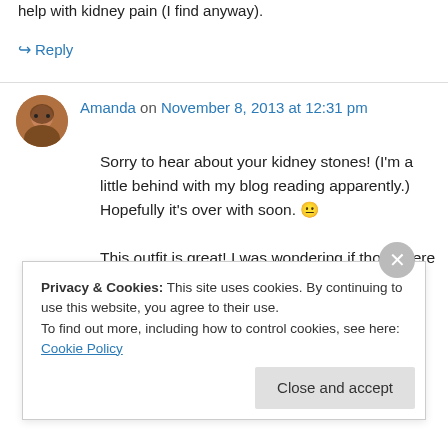help with kidney pain (I find anyway).
↪ Reply
Amanda on November 8, 2013 at 12:31 pm
Sorry to hear about your kidney stones! (I'm a little behind with my blog reading apparently.) Hopefully it's over with soon. 😐
This outfit is great! I was wondering if those were Renfrew tops when I saw them, especially the
Privacy & Cookies: This site uses cookies. By continuing to use this website, you agree to their use.
To find out more, including how to control cookies, see here: Cookie Policy
Close and accept